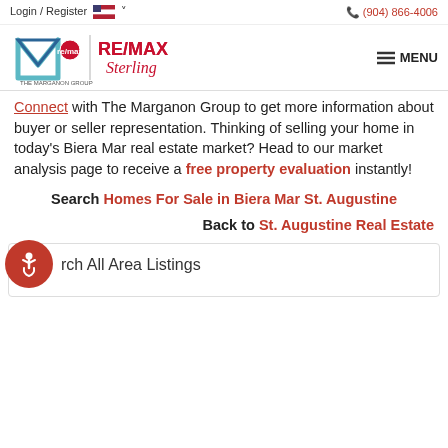Login / Register | (904) 866-4006
[Figure (logo): RE/MAX Sterling - The Marganon Group logo with hamburger menu button]
Connect with The Marganon Group to get more information about buyer or seller representation. Thinking of selling your home in today's Biera Mar real estate market? Head to our market analysis page to receive a free property evaluation instantly!
Search Homes For Sale in Biera Mar St. Augustine
Back to St. Augustine Real Estate
rch All Area Listings